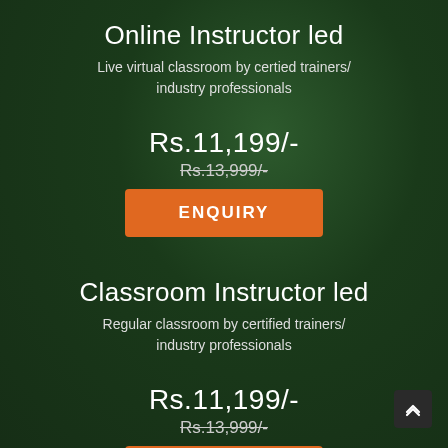Online Instructor led
Live virtual classroom by certied trainers/ industry professionals
Rs.11,199/-
Rs.13,999/-
ENQUIRY
Classroom Instructor led
Regular classroom by certified trainers/ industry professionals
Rs.11,199/-
Rs.13,999/-
ENQUIRY